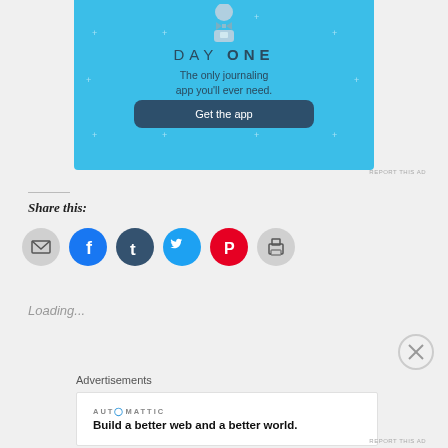[Figure (illustration): Day One journaling app advertisement banner with blue background, figure illustration, title DAY ONE, subtitle 'The only journaling app you'll ever need.', and a 'Get the app' button]
REPORT THIS AD
Share this:
[Figure (illustration): Social sharing icons: email, Facebook, Tumblr, Twitter, Pinterest, Print]
Loading...
Advertisements
[Figure (illustration): Automattic advertisement: 'Build a better web and a better world.']